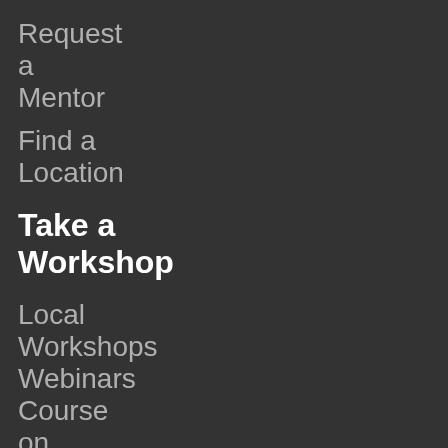Request a Mentor
Find a Location
Take a Workshop
Local Workshops
Webinars
Course on Demand
Browse the